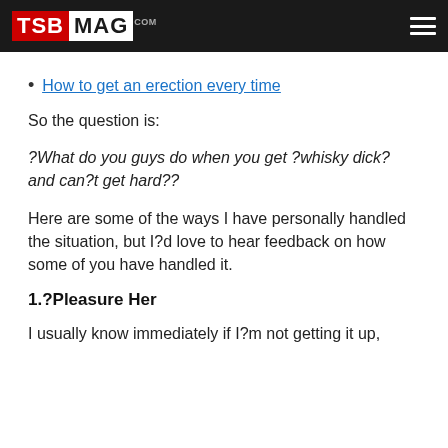TSB MAG .com
How to get an erection every time
So the question is:
?What do you guys do when you get ?whisky dick? and can?t get hard??
Here are some of the ways I have personally handled the situation, but I?d love to hear feedback on how some of you have handled it.
1.?Pleasure Her
I usually know immediately if I?m not getting it up,